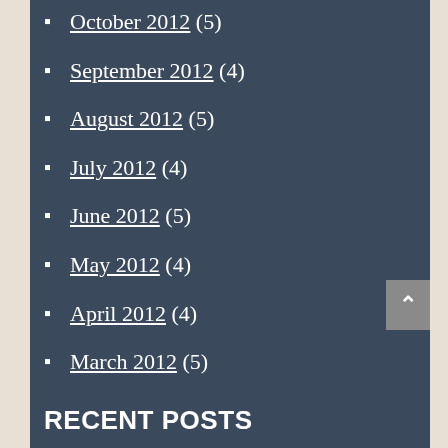October 2012 (5)
September 2012 (4)
August 2012 (5)
July 2012 (4)
June 2012 (5)
May 2012 (4)
April 2012 (4)
March 2012 (5)
RECENT POSTS
Child-free and considering divorce litigation? Try an alternative